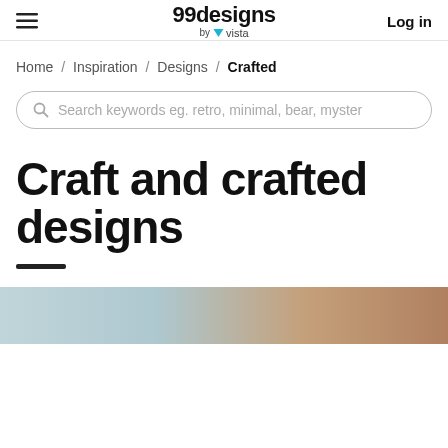99designs by vista — Log in
Home / Inspiration / Designs / Crafted
Search keywords eg. retro, minimal, bear, myster
Craft and crafted designs
[Figure (photo): Partial image of crafted design content, light teal and warm brown tones visible]